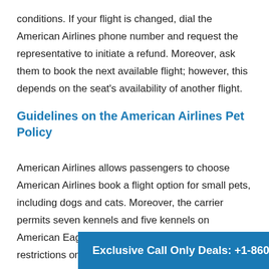conditions. If your flight is changed, dial the American Airlines phone number and request the representative to initiate a refund. Moreover, ask them to book the next available flight; however, this depends on the seat's availability of another flight.
Guidelines on the American Airlines Pet Policy
American Airlines allows passengers to choose American Airlines book a flight option for small pets, including dogs and cats. Moreover, the carrier permits seven kennels and five kennels on American Eagle flights. However, there are certain restrictions on flying with pets, have a look here.
Pa... mu...
Exclusive Call Only Deals: +1-860-498-9674